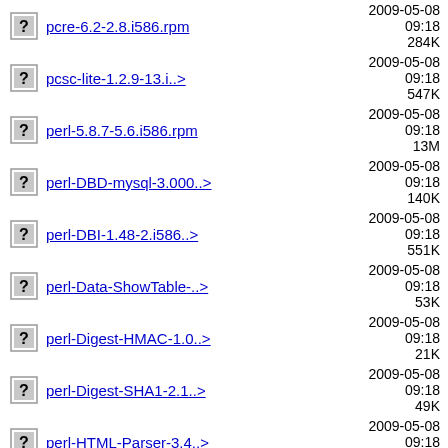pcre-6.2-2.8.i586.rpm  2009-05-08 09:18  284K
pcsc-lite-1.2.9-13.i..>  2009-05-08 09:18  547K
perl-5.8.7-5.6.i586.rpm  2009-05-08 09:18  13M
perl-DBD-mysql-3.000..>  2009-05-08 09:18  140K
perl-DBI-1.48-2.i586..>  2009-05-08 09:18  551K
perl-Data-ShowTable-..>  2009-05-08 09:18  53K
perl-Digest-HMAC-1.0..>  2009-05-08 09:18  21K
perl-Digest-SHA1-2.1..>  2009-05-08 09:18  49K
perl-HTML-Parser-3.4..>  2009-05-08 09:18  103K
perl-HTML-Tagset-3.0..>  2009-03-24 06:05  15K
perl-Net-DNS-0.53-2...>  2009-05-08 09:18  223K
perl-Net-Daemon-0.38..>  2009-05-08  40K